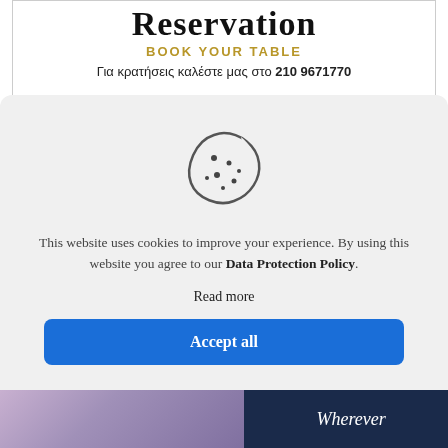Reservation
BOOK YOUR TABLE
Για κρατήσεις καλέστε μας στο 210 9671770
[Figure (photo): Three food/restaurant photos in a horizontal strip]
[Figure (illustration): Cookie icon illustration - circular cookie with bite taken out and dots]
This website uses cookies to improve your experience. By using this website you agree to our Data Protection Policy.
Read more
Accept all
[Figure (photo): Bottom strip with restaurant/lifestyle photos and 'Wherever' text]